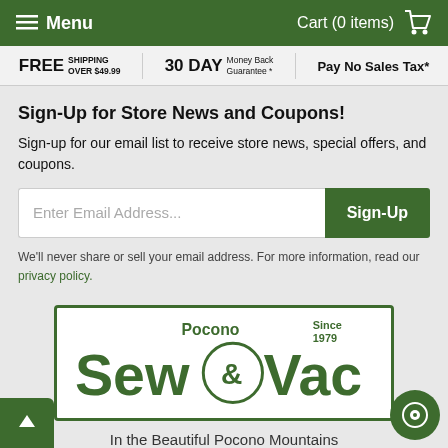Menu | Cart (0 items)
FREE SHIPPING OVER $49.99 | 30 DAY Money Back Guarantee * | Pay No Sales Tax*
Sign-Up for Store News and Coupons!
Sign-up for our email list to receive store news, special offers, and coupons.
Enter Email Address...
We'll never share or sell your email address. For more information, read our privacy policy.
[Figure (logo): Pocono Sew & Vac logo with green text on white background inside green border, 'Since 1979' text in upper right]
In the Beautiful Pocono Mountains of Pennsylvania Since 1979